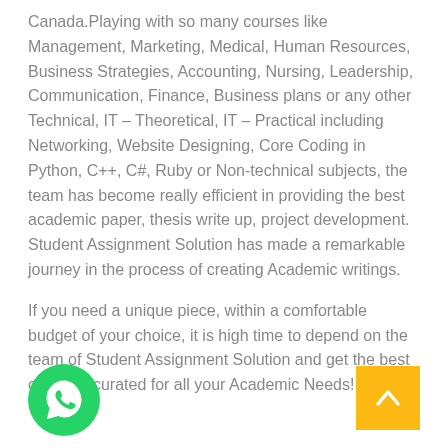Canada.Playing with so many courses like Management, Marketing, Medical, Human Resources, Business Strategies, Accounting, Nursing, Leadership, Communication, Finance, Business plans or any other Technical, IT – Theoretical, IT – Practical including Networking, Website Designing, Core Coding in Python, C++, C#, Ruby or Non-technical subjects, the team has become really efficient in providing the best academic paper, thesis write up, project development. Student Assignment Solution has made a remarkable journey in the process of creating Academic writings.
If you need a unique piece, within a comfortable budget of your choice, it is high time to depend on the team of Student Assignment Solution and get the best contents curated for all your Academic Needs!
[Figure (logo): WhatsApp icon button (green circle with white phone handset)]
[Figure (other): Yellow scroll-to-top button with upward caret arrow]